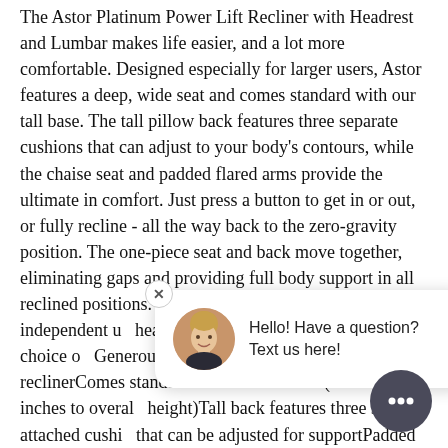The Astor Platinum Power Lift Recliner with Headrest and Lumbar makes life easier, and a lot more comfortable. Designed especially for larger users, Astor features a deep, wide seat and comes standard with our tall base. The tall pillow back features three separate cushions that can adjust to your body's contours, while the chaise seat and padded flared arms provide the ultimate in comfort. Just press a button to get in or out, or fully recline - all the way back to the zero-gravity position. The one-piece seat and back move together, eliminating gaps and providing full body support in all reclined positions. Features include power tilt, independent u[headrest and l]controller and your choice o[f] Generously scaled lift chair and power reclinerComes standard with our tall base (adds 1.5 inches to overall height)Tall back features three semi-attached cushions that can be adjusted for supportPadded flared armsChaise seat and legrestSeat and back move
[Figure (screenshot): Live chat popup with close button (X), avatar of a woman, and text 'Hello! Have a question? Text us here!', plus a dark circular chat button in bottom-right corner.]